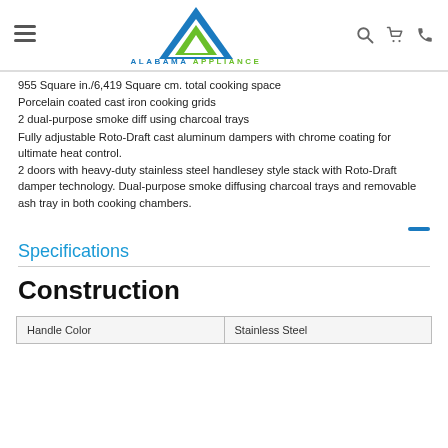Alabama Appliance - navigation header
955 Square in./6,419 Square cm. total cooking space
Porcelain coated cast iron cooking grids
2 dual-purpose smoke diff using charcoal trays
Fully adjustable Roto-Draft cast aluminum dampers with chrome coating for ultimate heat control.
2 doors with heavy-duty stainless steel handlesey style stack with Roto-Draft damper technology. Dual-purpose smoke diffusing charcoal trays and removable ash tray in both cooking chambers.
Specifications
Construction
| Handle Color | Stainless Steel |
| --- | --- |